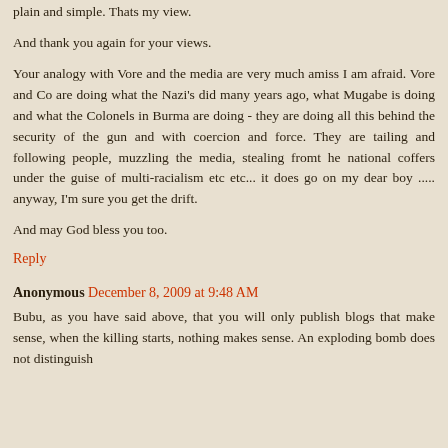plain and simple. Thats my view.
And thank you again for your views.
Your analogy with Vore and the media are very much amiss I am afraid. Vore and Co are doing what the Nazi's did many years ago, what Mugabe is doing and what the Colonels in Burma are doing - they are doing all this behind the security of the gun and with coercion and force. They are tailing and following people, muzzling the media, stealing fromt he national coffers under the guise of multi-racialism etc etc... it does go on my dear boy ..... anyway, I'm sure you get the drift.
And may God bless you too.
Reply
Anonymous December 8, 2009 at 9:48 AM
Bubu, as you have said above, that you will only publish blogs that make sense, when the killing starts, nothing makes sense. An exploding bomb does not distinguish